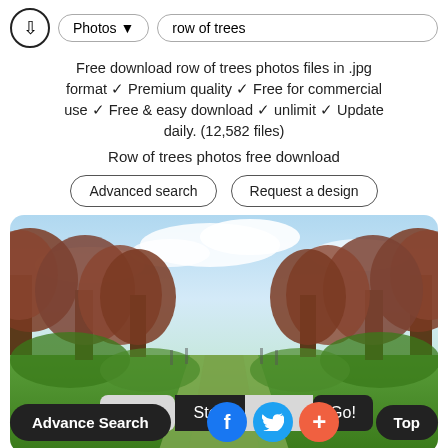Photos ▾  row of trees
Free download row of trees photos files in .jpg format ✓ Premium quality ✓ Free for commercial use ✓ Free & easy download ✓ unlimit ✓ Update daily. (12,582 files)
Row of trees photos free download
Advanced search   Request a design
[Figure (photo): A row of ornamental trees with reddish-brown foliage lining a grassy path, blue sky with clouds in the background.]
Page: Stop 1 Go!
Advance Search  f  (twitter)  +  Top